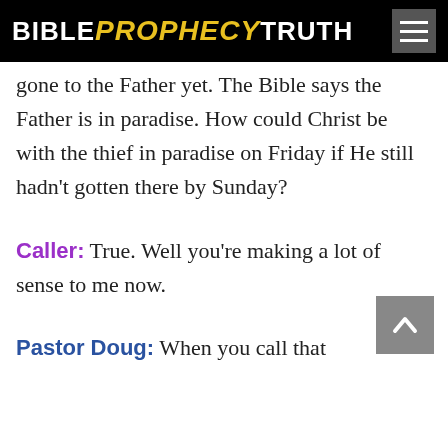BIBLE PROPHECY TRUTH
gone to the Father yet. The Bible says the Father is in paradise. How could Christ be with the thief in paradise on Friday if He still hadn't gotten there by Sunday?
Caller: True. Well you're making a lot of sense to me now.
Pastor Doug: When you call that